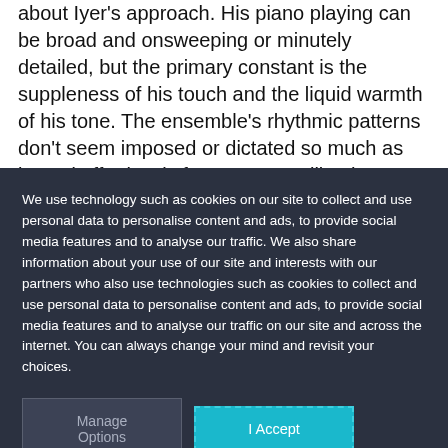about Iyer's approach. His piano playing can be broad and onsweeping or minutely detailed, but the primary constant is the suppleness of his touch and the liquid warmth of his tone. The ensemble's rhythmic patterns don't seem imposed or dictated so much as issued effortlessly from a center, like the concentric ripples on a pond....This is exciting and eminently listenable
We use technology such as cookies on our site to collect and use personal data to personalise content and ads, to provide social media features and to analyse our traffic. We also share information about your use of our site and interests with our partners who also use technologies such as cookies to collect and use personal data to personalise content and ads, to provide social media features and to analyse our traffic on our site and across the internet. You can always change your mind and revisit your choices.
Manage Options
I Accept